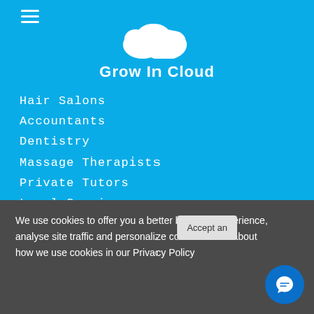[Figure (logo): Grow In Cloud logo with cloud icon and text]
Hair Salons
Accountants
Dentistry
Massage Therapists
Private Tutors
Legal Services
Interior Designers
Spas
Freelance Consultants
Estate Agents
Personal Trainers
Photographers
We use cookies to offer you a better browsing experience, analyse site traffic and personalize content. Read about how we use cookies in our Privacy Policy